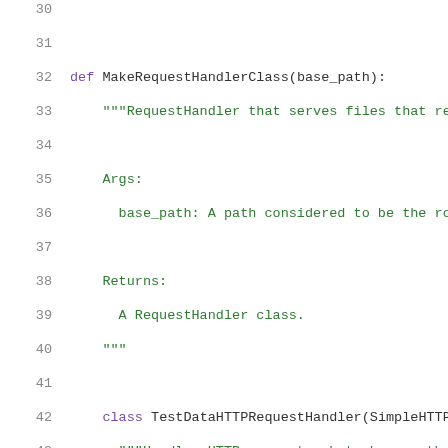Code listing lines 30-51 showing Python source code with MakeRequestHandlerClass function definition and TestDataHTTPRequestHandler class definition